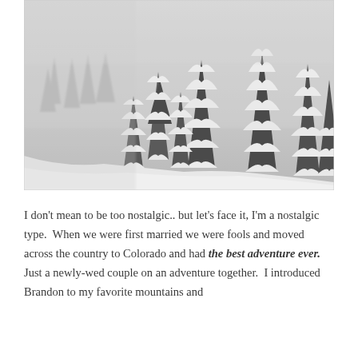[Figure (photo): Black and white winter landscape photograph showing snow-covered evergreen trees (pine/spruce) on a hillside with a misty/foggy grey sky background. The trees are heavily laden with snow, and the foreground shows a snowy slope.]
I don't mean to be too nostalgic.. but let's face it, I'm a nostalgic type.  When we were first married we were fools and moved across the country to Colorado and had the best adventure ever.  Just a newly-wed couple on an adventure together.  I introduced Brandon to my favorite mountains and